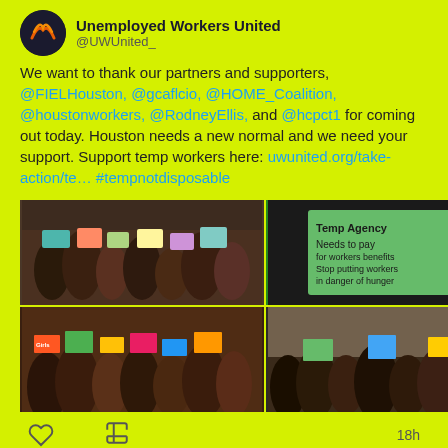[Figure (screenshot): Twitter/social media screenshot on yellow-green background showing tweets from Unemployed Workers United (@UWUUnited_)]
Unemployed Workers United
@UWUnited_
We want to thank our partners and supporters, @FIELHouston, @gcaflcio, @HOME_Coalition, @houstonworkers, @RodneyEllis, and @hcpct1 for coming out today. Houston needs a new normal and we need your support. Support temp workers here: uwunited.org/take-action/te… #tempnotdisposable
[Figure (photo): 2x2 grid of protest photos showing people holding signs at a rally]
18h
FIEL Houston 🦋 Retweeted
Unemployed Workers United
@UWUnited_